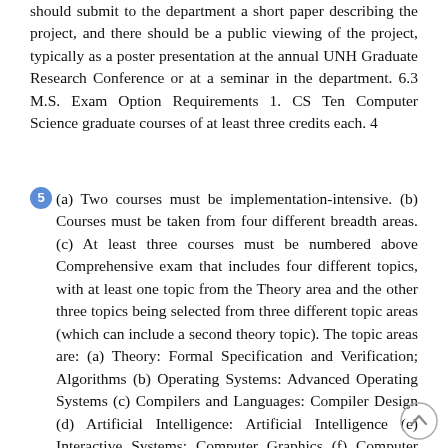should submit to the department a short paper describing the project, and there should be a public viewing of the project, typically as a poster presentation at the annual UNH Graduate Research Conference or at a seminar in the department. 6.3 M.S. Exam Option Requirements 1. CS Ten Computer Science graduate courses of at least three credits each. 4
5 (a) Two courses must be implementation-intensive. (b) Courses must be taken from four different breadth areas. (c) At least three courses must be numbered above Comprehensive exam that includes four different topics, with at least one topic from the Theory area and the other three topics being selected from three different topic areas (which can include a second theory topic). The topic areas are: (a) Theory: Formal Specification and Verification; Algorithms (b) Operating Systems: Advanced Operating Systems (c) Compilers and Languages: Compiler Design (d) Artificial Intelligence: Artificial Intelligence (e) Interactive Systems: Computer Graphics (f) Computer Networks: Computer Networks The department maintains a syllabus for each exam topic. Students should contact the Director of Graduate Studies to obtain access to the syllabi. To